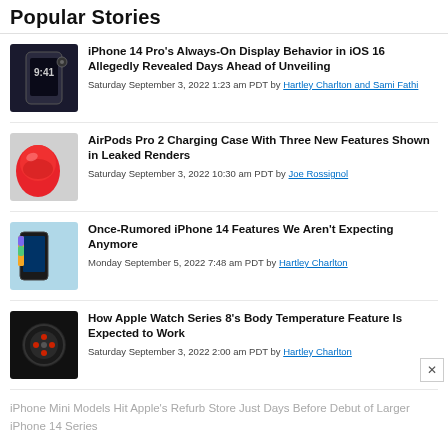Popular Stories
iPhone 14 Pro's Always-On Display Behavior in iOS 16 Allegedly Revealed Days Ahead of Unveiling
Saturday September 3, 2022 1:23 am PDT by Hartley Charlton and Sami Fathi
AirPods Pro 2 Charging Case With Three New Features Shown in Leaked Renders
Saturday September 3, 2022 10:30 am PDT by Joe Rossignol
Once-Rumored iPhone 14 Features We Aren't Expecting Anymore
Monday September 5, 2022 7:48 am PDT by Hartley Charlton
How Apple Watch Series 8's Body Temperature Feature Is Expected to Work
Saturday September 3, 2022 2:00 am PDT by Hartley Charlton
iPhone Mini Models Hit Apple's Refurb Store Just Days Before Debut of Larger iPhone 14 Series